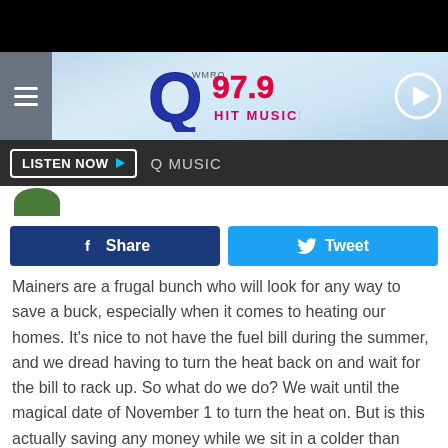[Figure (screenshot): Q97.9 Hit Music radio station website header with logo, hamburger menu, play button, and navigation bar]
LISTEN NOW  Q MUSIC
[Figure (screenshot): Facebook Share button (dark blue) and Twitter Tweet button (light blue)]
Mainers are a frugal bunch who will look for any way to save a buck, especially when it comes to heating our homes. It's nice to not have the fuel bill during the summer, and we dread having to turn the heat back on and wait for the bill to rack up. So what do we do? We wait until the magical date of November 1 to turn the heat on. But is this actually saving any money while we sit in a colder than we'd like house?
News Center Maine Meteorologist and writer of attch.ado